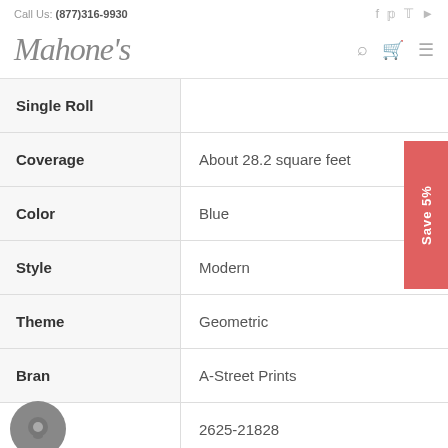Call Us: (877)316-9930
[Figure (logo): Mahone's cursive logo]
| Attribute | Value |
| --- | --- |
| Single Roll |  |
| Coverage | About 28.2 square feet |
| Color | Blue |
| Style | Modern |
| Theme | Geometric |
| Brand | A-Street Prints |
| Item # | 2625-21828 |